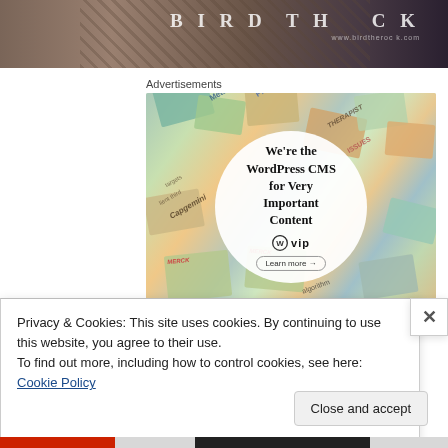[Figure (photo): Top portion of a bird (ostrich or similar large bird) with brown feathers, with text 'BIRD THE ROCK' visible in upper right corner]
Advertisements
[Figure (screenshot): WordPress VIP advertisement showing colorful overlapping cards/documents in background with a white circle in center containing text: 'We're the WordPress CMS for Very Important Content' with WordPress VIP logo and 'Learn more →' button]
Privacy & Cookies: This site uses cookies. By continuing to use this website, you agree to their use.
To find out more, including how to control cookies, see here: Cookie Policy
Close and accept